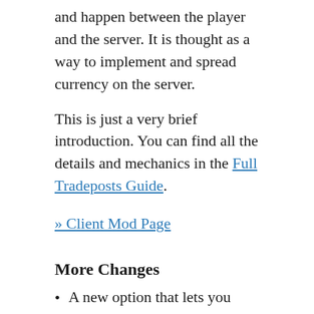and happen between the player and the server. It is thought as a way to implement and spread currency on the server.
This is just a very brief introduction. You can find all the details and mechanics in the Full Tradeposts Guide.
» Client Mod Page
More Changes
A new option that lets you delete all guilds without a claim was added to the Database Maintenance tool. Useful for older servers